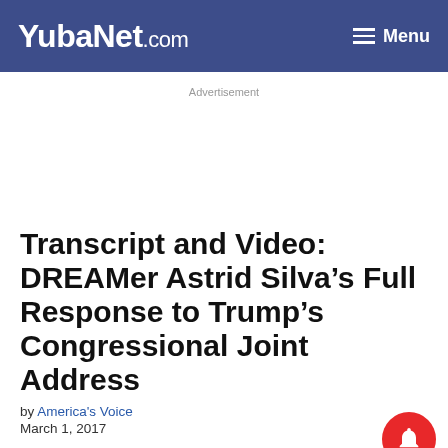YubaNet.com | Menu
Advertisement
Transcript and Video: DREAMer Astrid Silva’s Full Response to Trump’s Congressional Joint Address
by America's Voice
March 1, 2017